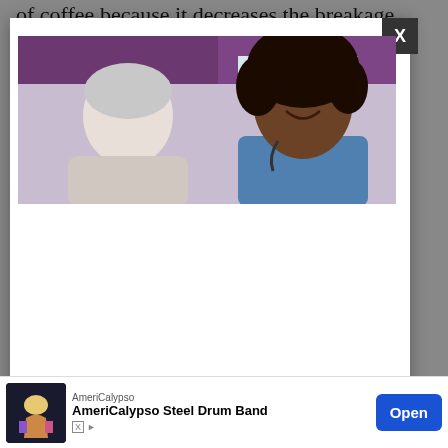of coffee because it decreases the breakage of DNA strands.
The data...
[Figure (photo): A smiling young Black female healthcare professional speaking with an elderly white-haired patient. A purple curtain/valance is visible in the background.]
The media could not be loaded, either because the server or network failed or because the format is not supported.
RELATED: How Much Do...
Ba...
[Figure (photo): Small thumbnail image for AmeriCalypso advertisement]
AmeriCalypso
AmeriCalypso Steel Drum Band
Open